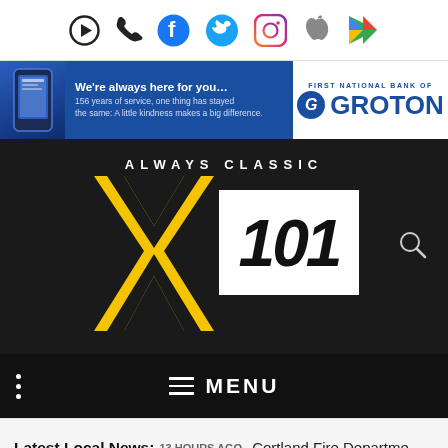[Figure (screenshot): Top bar with social/media icons: play button, phone, Facebook, Twitter, Instagram, Apple, Google Play]
[Figure (infographic): First National Bank of Groton advertisement banner: 'We're always here for you... 156 years of service, one thing has stayed the same: A little kindness makes a big difference.']
[Figure (logo): Always Classic X101 radio station logo on dark background with search icon]
≡ MENU
Latest Local News: 13 HOURS AGO  Cortland Fire Departme